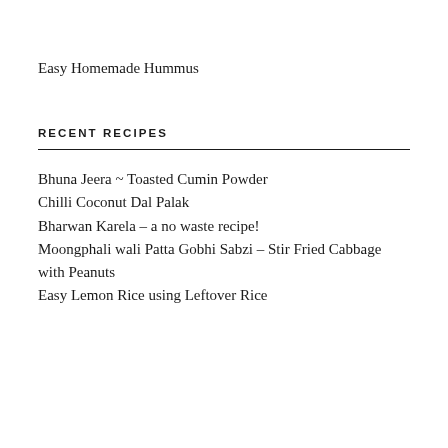Easy Homemade Hummus
RECENT RECIPES
Bhuna Jeera ~ Toasted Cumin Powder
Chilli Coconut Dal Palak
Bharwan Karela – a no waste recipe!
Moongphali wali Patta Gobhi Sabzi – Stir Fried Cabbage with Peanuts
Easy Lemon Rice using Leftover Rice